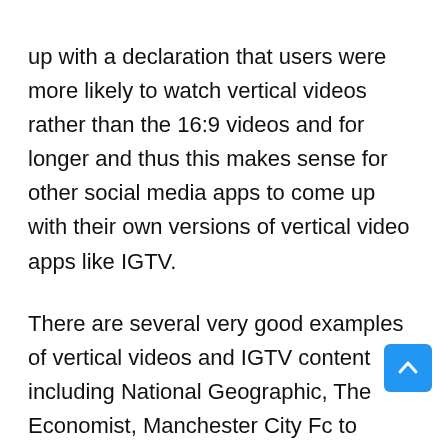up with a declaration that users were more likely to watch vertical videos rather than the 16:9 videos and for longer and thus this makes sense for other social media apps to come up with their own versions of vertical video apps like IGTV.
There are several very good examples of vertical videos and IGTV content including National Geographic, The Economist, Manchester City Fc to mention a few. IGTV had very humble beginnings and if the vertical video app would have been launched just a few years ago then it would have met with serious scepticism. When Instagram was first launched it was just an a[pp] where users to filter and edit their photos and share them with others through it. All that